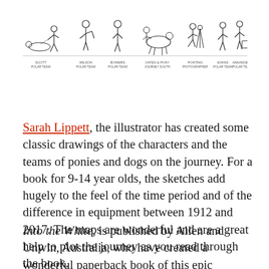[Figure (illustration): A row of black and white sketch illustrations showing various figures: a person pulling a sled with a lying figure, a person with a walking stick, a person standing, a person with a horse/pony, a person crouching with equipment, a person standing, and a person with luggage. Small captions appear below each figure.]
Sarah Lippett, the illustrator has created some classic drawings of the characters and the teams of ponies and dogs on the journey. For a book for 9-14 year olds, the sketches add hugely to the feel of the time period and of the difference in equipment between 1912 and 2017. The maps are wonderful and are a great help to plot the journey as you read through the book.
Into the White, is published by Allen and Unwin, Australia, who have created a wonderful paperback book of this epic journey.